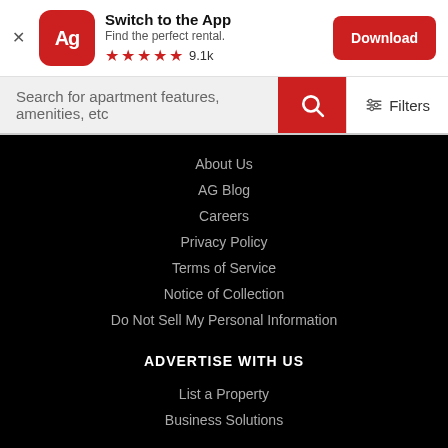[Figure (screenshot): App banner with Ag logo icon (red rounded square with white Ag text), title 'Switch to the App', subtitle 'Find the perfect rental.', 5 red stars rating with 9.1k reviews, and a red Download button]
[Figure (screenshot): Search bar with placeholder text 'Search for apartment features, amenities, etc', a red search button with magnifier icon, and a white Filters button with sliders icon]
About Us
AG Blog
Careers
Privacy Policy
Terms of Service
Notice of Collection
Do Not Sell My Personal Information
ADVERTISE WITH US
List a Property
Business Solutions
LET US HELP